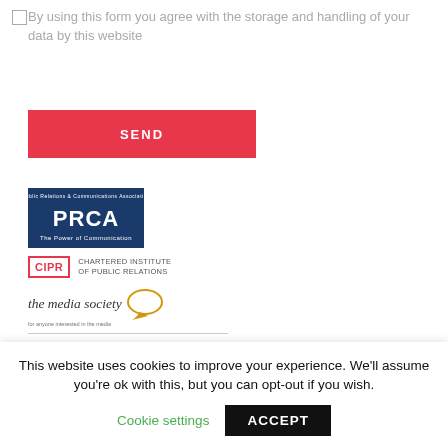By using this form you agree with the storage and handling of your data by this website
[Figure (other): Red SEND button]
[Figure (logo): PRCA - Public Relations & Communications Association logo with navy blue background]
[Figure (logo): CIPR - Chartered Institute of Public Relations logo]
[Figure (logo): The Media Society logo with speech bubble]
[Figure (logo): Investors in Diversity | Working partial logo]
This website uses cookies to improve your experience. We'll assume you're ok with this, but you can opt-out if you wish.
Cookie settings
ACCEPT